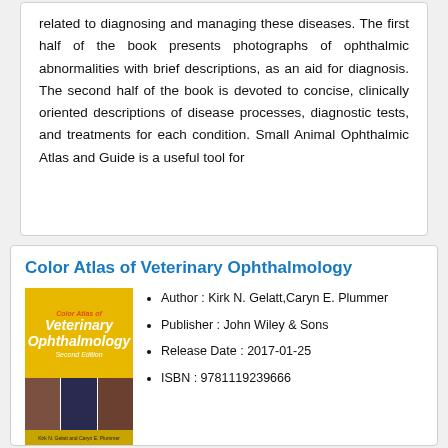related to diagnosing and managing these diseases. The first half of the book presents photographs of ophthalmic abnormalities with brief descriptions, as an aid for diagnosis. The second half of the book is devoted to concise, clinically oriented descriptions of disease processes, diagnostic tests, and treatments for each condition. Small Animal Ophthalmic Atlas and Guide is a useful tool for
Color Atlas of Veterinary Ophthalmology
[Figure (photo): Book cover of Color Atlas of Veterinary Ophthalmology by Kirk N. Gelatt and Caryn E. Plummer, showing a yellow/gold cover with eye photos of animals]
Author : Kirk N. Gelatt,Caryn E. Plummer
Publisher : John Wiley & Sons
Release Date : 2017-01-25
ISBN : 9781119239666